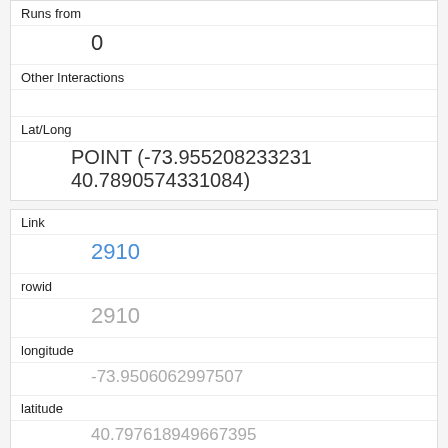| Runs from | 0 |
| Other Interactions |  |
| Lat/Long | POINT (-73.955208233231 40.7890574331084) |
| Link | 2910 |
| rowid | 2910 |
| longitude | -73.9506062997507 |
| latitude | 40.797618949667395 |
| Unique Squirrel ID | 42H-PM-1014-03 |
| Hectare | 42H |
| Shift | PM |